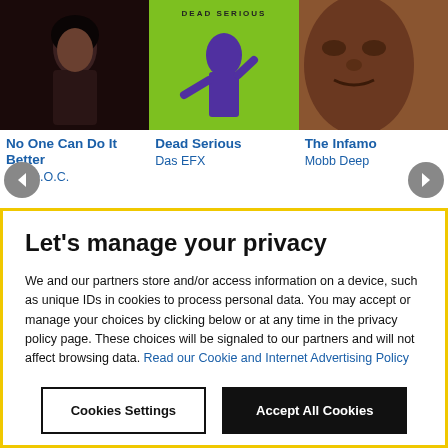[Figure (photo): Album cover for 'No One Can Do It Better' by The D.O.C. - dark photo of a person]
No One Can Do It Better
The D.O.C.
[Figure (photo): Album cover for 'Dead Serious' by Das EFX - green/yellow background with figure]
Dead Serious
Das EFX
[Figure (photo): Album cover for 'The Infamous' by Mobb Deep - partially cropped]
The Infamo...
Mobb Deep
Let's manage your privacy
We and our partners store and/or access information on a device, such as unique IDs in cookies to process personal data. You may accept or manage your choices by clicking below or at any time in the privacy policy page. These choices will be signaled to our partners and will not affect browsing data. Read our Cookie and Internet Advertising Policy